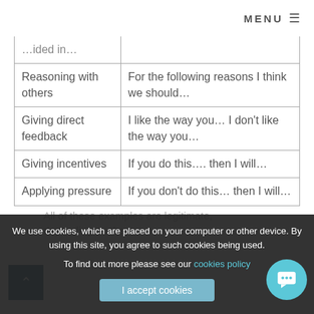MENU ☰
| …ided in… |  |
| Reasoning with others | For the following reasons I think we should… |
| Giving direct feedback | I like the way you… I don't like the way you… |
| Giving incentives | If you do this…. then I will… |
| Applying pressure | If you don't do this… then I will… |
All of these examples are legitimate, depending on the
We use cookies, which are placed on your computer or other device. By using this site, you agree to such cookies being used. To find out more please see our cookies policy
I accept cookies